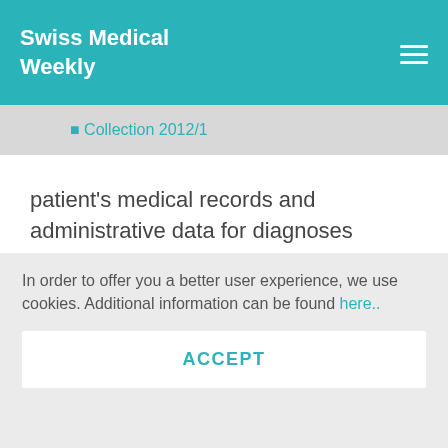Swiss Medical Weekly
Collection 2012/1
patient's medical records and administrative data for diagnoses established at or before enrolment in this study. This scale, previously validated in the Geneva hospital, has been shown to predict length of stay, institutionalisation and death [15]. The CIRS incorporates medical conditions according to
In order to offer you a better user experience, we use cookies. Additional information can be found here..
ACCEPT